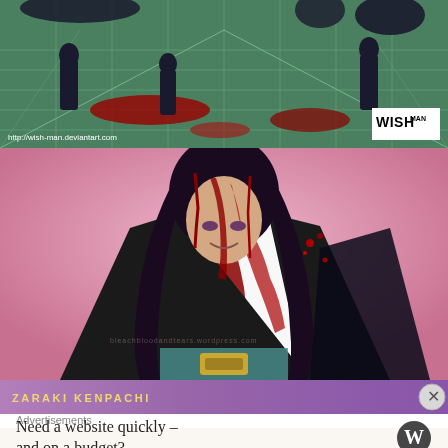[Figure (illustration): Anime-style illustration with green grid background, dark figures with blood splatter, WISH MAN logo in bottom right corner, URL http://wish-man.deviantart.com in bottom left]
[Figure (illustration): Anime illustration of a dark-haired character with purple eyes covered in blood, wearing black and white robes, pink background]
[Figure (illustration): Partial banner showing 'ZARAKI KENPACHI' text in gold on purple background with close button]
Advertisements
Need a website quickly – and on a budget?